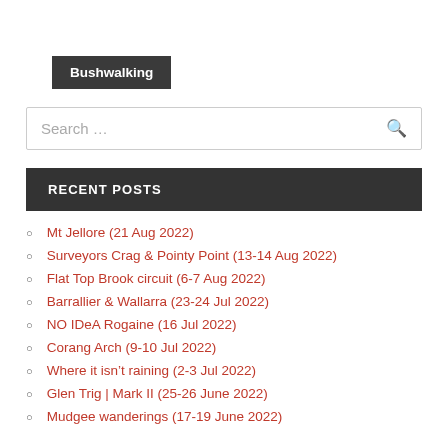Bushwalking
Search …
RECENT POSTS
Mt Jellore (21 Aug 2022)
Surveyors Crag & Pointy Point (13-14 Aug 2022)
Flat Top Brook circuit (6-7 Aug 2022)
Barrallier & Wallarra (23-24 Jul 2022)
NO IDeA Rogaine (16 Jul 2022)
Corang Arch (9-10 Jul 2022)
Where it isn't raining (2-3 Jul 2022)
Glen Trig | Mark II (25-26 June 2022)
Mudgee wanderings (17-19 June 2022)